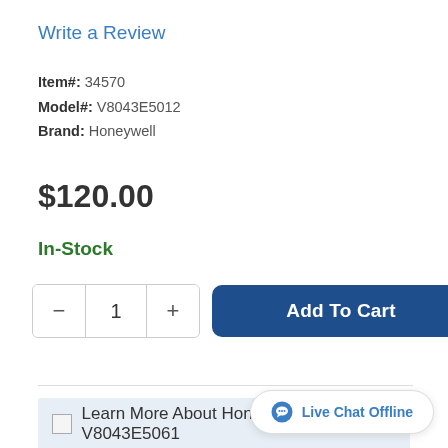Write a Review
Item#: 34570
Model#: V8043E5012
Brand: Honeywell
$120.00
In-Stock
[Figure (screenshot): Quantity selector with minus and plus buttons showing value 1, and Add To Cart button]
[Figure (screenshot): Learn More About Honeywell V8043E5061 banner link with broken image icon]
Live Chat Offline